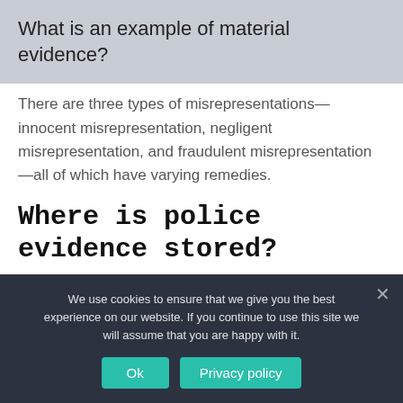What is an example of material evidence?
There are three types of misrepresentations—innocent misrepresentation, negligent misrepresentation, and fraudulent misrepresentation—all of which have varying remedies.
Where is police evidence stored?
Evidence Storage/Property Room: The evidence storage room is located within the Police Department where
We use cookies to ensure that we give you the best experience on our website. If you continue to use this site we will assume that you are happy with it.